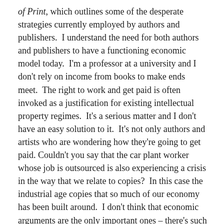of Print, which outlines some of the desperate strategies currently employed by authors and publishers.  I understand the need for both authors and publishers to have a functioning economic model today.  I'm a professor at a university and I don't rely on income from books to make ends meet.  The right to work and get paid is often invoked as a justification for existing intellectual property regimes.  It's a serious matter and I don't have an easy solution to it.  It's not only authors and artists who are wondering how they're going to get paid.  Couldn't you say that the car plant worker whose job is outsourced is also experiencing a crisis in the way that we relate to copies?  In this case the industrial age copies that so much of our economy has been built around.  I don't think that economic arguments are the only important ones – there's such a thing as a moral right, not just for authors, but for those who participate in the public domain, i.e. all of us.
For example: in the last couple of years, the two most